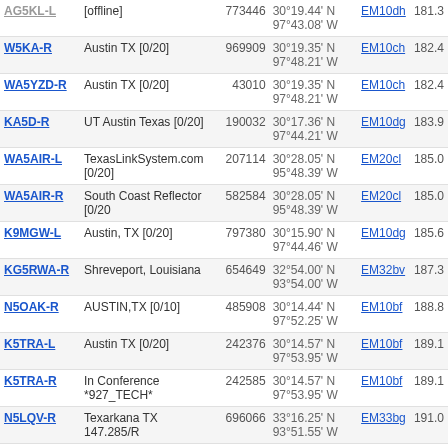| Callsign | Description | Node | Coordinates | Grid | Dist |
| --- | --- | --- | --- | --- | --- |
| AG5KL-L | [offline] | 773446 | 30°19.44' N 97°43.08' W | EM10dh | 181.3 |
| W5KA-R | Austin TX [0/20] | 969909 | 30°19.35' N 97°48.21' W | EM10ch | 182.4 |
| WA5YZD-R | Austin TX [0/20] | 43010 | 30°19.35' N 97°48.21' W | EM10ch | 182.4 |
| KA5D-R | UT Austin Texas [0/20] | 190032 | 30°17.36' N 97°44.21' W | EM10dg | 183.9 |
| WA5AIR-L | TexasLinkSystem.com [0/20] | 207114 | 30°28.05' N 95°48.39' W | EM20cl | 185.0 |
| WA5AIR-R | South Coast Reflector [0/20 | 582584 | 30°28.05' N 95°48.39' W | EM20cl | 185.0 |
| K9MGW-L | Austin, TX [0/20] | 797380 | 30°15.90' N 97°44.46' W | EM10dg | 185.6 |
| KG5RWA-R | Shreveport, Louisiana | 654649 | 32°54.00' N 93°54.00' W | EM32bv | 187.3 |
| N5OAK-R | AUSTIN,TX [0/10] | 485908 | 30°14.44' N 97°52.25' W | EM10bf | 188.8 |
| K5TRA-L | Austin TX [0/20] | 242376 | 30°14.57' N 97°53.95' W | EM10bf | 189.1 |
| K5TRA-R | In Conference *927_TECH* | 242585 | 30°14.57' N 97°53.95' W | EM10bf | 189.1 |
| N5LQV-R | Texarkana TX 147.285/R | 696066 | 33°16.25' N 93°51.55' W | EM33bg | 191.0 |
| K5JM-L | Austin TX [0/20] | 708457 | 30°10.78' N 97°48.41' W | EM10ce | 192.1 |